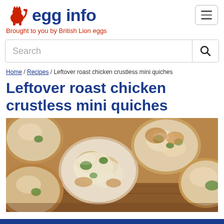[Figure (logo): British Lion Eggs red lion logo and 'egg info' blue text]
Brought to you by British Lion eggs
Search
Home / Recipes / Leftover roast chicken crustless mini quiches
Leftover roast chicken crustless mini quiches
[Figure (photo): Close-up photo of crustless mini quiches with broccoli and melted cheese on a wooden surface]